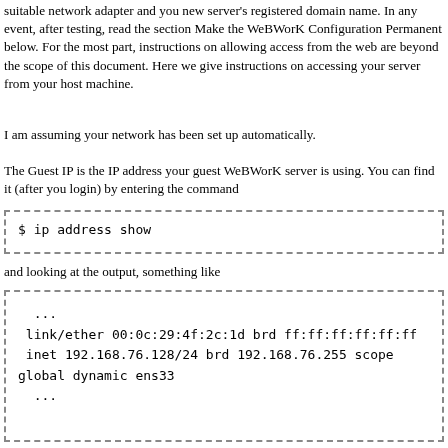suitable network adapter and you new server's registered domain name. In any event, after testing, read the section Make the WeBWorK Configuration Permanent below. For the most part, instructions on allowing access from the web are beyond the scope of this document. Here we give instructions on accessing your server from your host machine.
I am assuming your network has been set up automatically.
The Guest IP is the IP address your guest WeBWorK server is using. You can find it (after you login) by entering the command
$ ip address show
and looking at the output, something like
...
 link/ether 00:0c:29:4f:2c:1d brd ff:ff:ff:ff:ff:ff
 inet 192.168.76.128/24 brd 192.168.76.255 scope global dynamic ens33
 ...